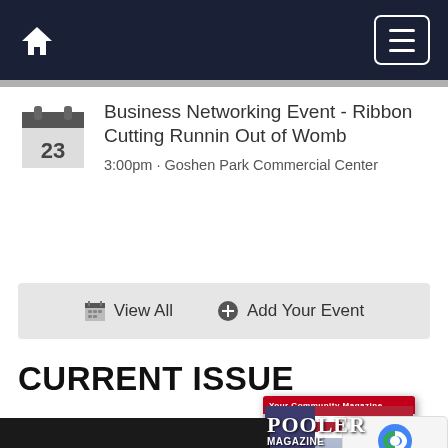Home | Menu
Business Networking Event - Ribbon Cutting Runnin Out of Womb
3:00pm · Goshen Park Commercial Center
View All   Add Your Event
CURRENT ISSUE
[Figure (photo): Pooler community magazine cover with American flag and military aircraft imagery]
Read It Now